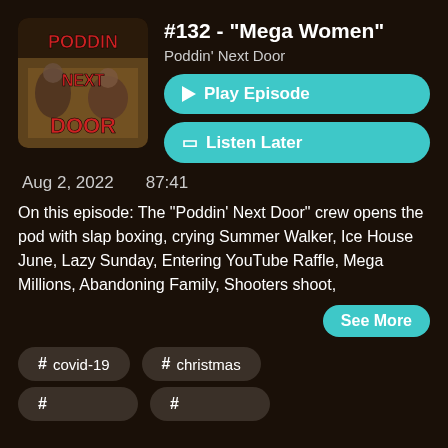[Figure (illustration): Podcast artwork for 'Poddin Next Door' showing people in a room with red stylized text on a dark background]
#132 - "Mega Women"
Poddin' Next Door
▶ Play Episode
🔖 Listen Later
Aug 2, 2022    87:41
On this episode: The "Poddin' Next Door" crew opens the pod with slap boxing, crying Summer Walker, Ice House June, Lazy Sunday, Entering YouTube Raffle, Mega Millions, Abandoning Family, Shooters shoot,
See More
# covid-19
# christmas